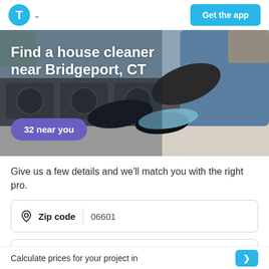T (logo) Get the app
[Figure (photo): Person wearing black gloves cleaning a kitchen stovetop/countertop with a blue cloth, wearing a blue apron]
Find a house cleaner near Bridgeport, CT
32 near you
Give us a few details and we'll match you with the right pro.
Zip code  06601
Frequency
Calculate prices for your project in